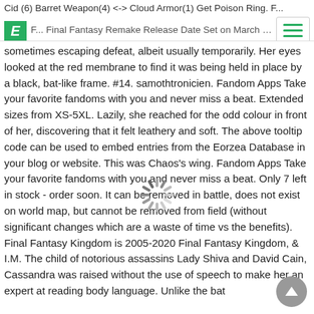Cid (6) Barret Weapon(4) <-> Cloud Armor(1) Get Poison Ring. F... Final Fantasy Remake Release Date Set on March 3, 2020. Also unl... trios, they are able to both drain and aspir opponents,
sometimes escaping defeat, albeit usually temporarily. Her eyes looked at the red membrane to find it was being held in place by a black, bat-like frame. #14. samothtronicien. Fandom Apps Take your favorite fandoms with you and never miss a beat. Extended sizes from XS-5XL. Lazily, she reached for the odd colour in front of her, discovering that it felt leathery and soft. The above tooltip code can be used to embed entries from the Eorzea Database in your blog or website. This was Chaos's wing. Fandom Apps Take your favorite fandoms with you and never miss a beat. Only 7 left in stock - order soon. It can be removed in battle, does not exist on world map, but cannot be removed from field (without significant changes which are a waste of time vs the benefits). Final Fantasy Kingdom is 2005-2020 Final Fantasy Kingdom, & I.M. The child of notorious assassins Lady Shiva and David Cain, Cassandra was raised without the use of speech to make her an expert at reading body language. Unlike the bat